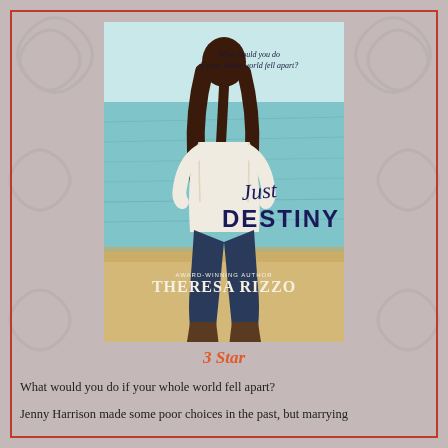[Figure (illustration): Book cover for 'Just Destiny' by Theresa Rizzo (Award-Winning Author). Shows a woman with long dark hair from behind, wearing a cream sweater and jeans, standing on a sandy beach looking out at teal water. Text on cover: 'What would you do if your whole world fell apart?' Title in script and serif: 'Just Destiny'. Author name at bottom: 'THERESA RIZZO'.]
3 Star
What would you do if your whole world fell apart?
Jenny Harrison made some poor choices in the past, but marrying